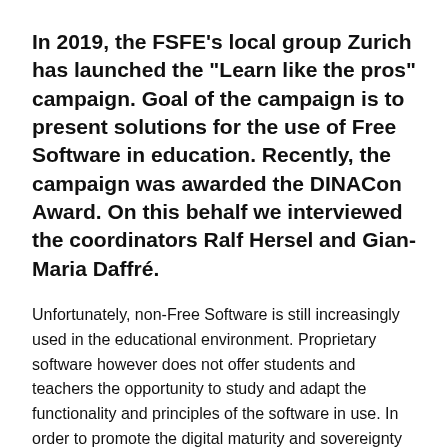In 2019, the FSFE's local group Zurich has launched the "Learn like the pros" campaign. Goal of the campaign is to present solutions for the use of Free Software in education. Recently, the campaign was awarded the DINACon Award. On this behalf we interviewed the coordinators Ralf Hersel and Gian-Maria Daffré.
Unfortunately, non-Free Software is still increasingly used in the educational environment. Proprietary software however does not offer students and teachers the opportunity to study and adapt the functionality and principles of the software in use. In order to promote the digital maturity and sovereignty of the students as well as the teaching staff, Free Software should be consistently used in education instead. In order to get one step closer to this goal, the FSFE local group Zurich has picked up the topic with its own campaign called "Learn like the pros".